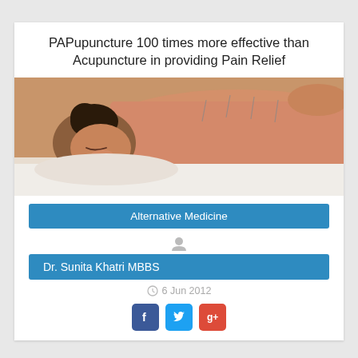PAPupuncture 100 times more effective than Acupuncture in providing Pain Relief
[Figure (photo): Woman lying face down on a massage table receiving acupuncture treatment on her back, eyes closed, dark hair in a bun]
Alternative Medicine
Dr. Sunita Khatri MBBS
6 Jun 2012